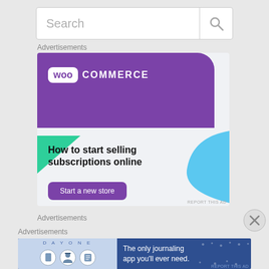[Figure (screenshot): Search bar with magnifying glass icon on grey background]
Advertisements
[Figure (illustration): WooCommerce advertisement banner: purple header with WooCommerce logo, green triangle, light blue shape, text 'How to start selling subscriptions online', purple 'Start a new store' button]
REPORT THIS AD
Advertisements
Advertisements
[Figure (illustration): Day One journaling app advertisement: blue background with DAY ONE text and icons on left, 'The only journaling app you'll ever need.' text on right]